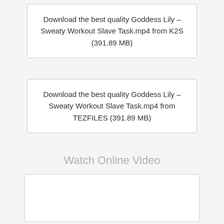Download the best quality Goddess Lily – Sweaty Workout Slave Task.mp4 from K2S (391.89 MB)
Download the best quality Goddess Lily – Sweaty Workout Slave Task.mp4 from TEZFILES (391.89 MB)
Watch Online Video
[Figure (other): Empty white video player box]